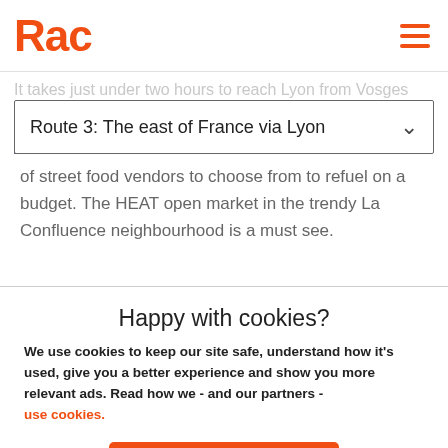RAC
es mountains.
It takes just under two hours to reach Lyon from Vosges
Route 3: The east of France via Lyon
of street food vendors to choose from to refuel on a budget. The HEAT open market in the trendy La Confluence neighbourhood is a must see.
Happy with cookies?
We use cookies to keep our site safe, understand how it's used, give you a better experience and show you more relevant ads. Read how we - and our partners - use cookies.
Yes, that's fine
No, manage cookies